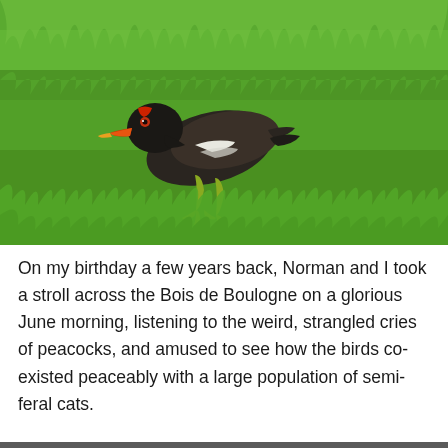[Figure (photo): A black moorhen bird with a red and yellow beak pecking at lush green grass. The bird has dark brown-black plumage with white markings on its side and yellowish-green legs.]
On my birthday a few years back, Norman and I took a stroll across the Bois de Boulogne on a glorious June morning, listening to the weird, strangled cries of peacocks, and amused to see how the birds co-existed peaceably with a large population of semi-feral cats.